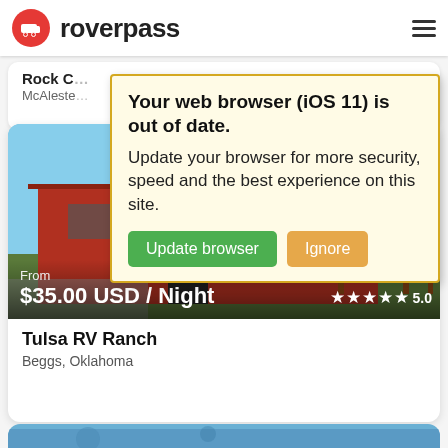[Figure (screenshot): Roverpass website header with logo (red circle with RV icon) and bold text 'roverpass', hamburger menu on right]
Rock C... / McAleste...
Your web browser (iOS 11) is out of date. Update your browser for more security, speed and the best experience on this site. [Update browser] [Ignore]
[Figure (photo): Photo of Tulsa RV Ranch showing a red barn/General Store building, playground equipment on the right, blue sky]
From
$35.00 USD / Night  ★★★★★ 5.0
Tulsa RV Ranch
Beggs, Oklahoma
[Figure (photo): Partial view of another campground photo at the bottom of the page]